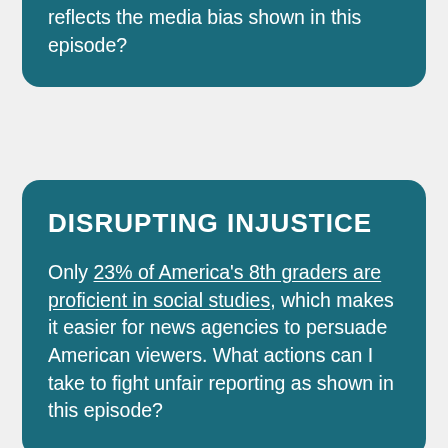reflects the media bias shown in this episode?
DISRUPTING INJUSTICE
Only 23% of America's 8th graders are proficient in social studies, which makes it easier for news agencies to persuade American viewers. What actions can I take to fight unfair reporting as shown in this episode?